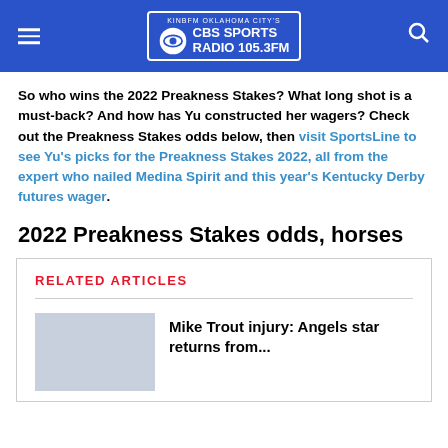KINBFM OKLAHOMA CITY'S CBS SPORTS RADIO 105.3FM
So who wins the 2022 Preakness Stakes? What long shot is a must-back? And how has Yu constructed her wagers? Check out the Preakness Stakes odds below, then visit SportsLine to see Yu's picks for the Preakness Stakes 2022, all from the expert who nailed Medina Spirit and this year's Kentucky Derby futures wager.
2022 Preakness Stakes odds, horses
RELATED ARTICLES
Mike Trout injury: Angels star returns from...